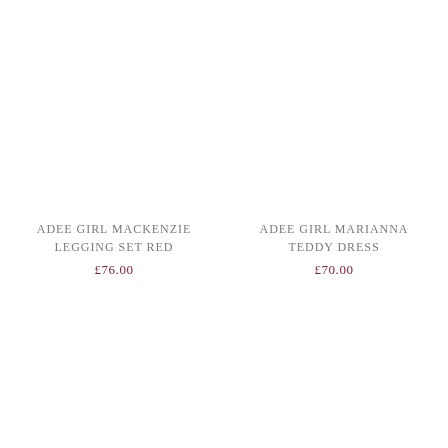ADEE GIRL MACKENZIE LEGGING SET RED
£76.00
ADEE GIRL MARIANNA TEDDY DRESS
£70.00